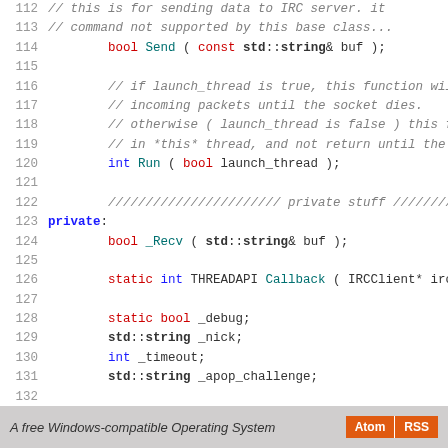[Figure (screenshot): Source code screenshot showing C++ class definition lines 112-140 with syntax highlighting. Line numbers in gray on left, keywords in blue/red, comments in gray italic, function names in teal.]
A free Windows-compatible Operating System   Atom  RSS